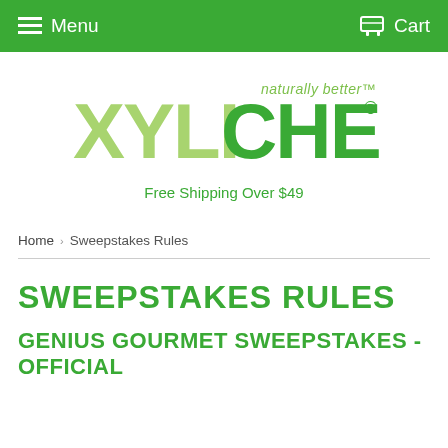Menu   Cart
[Figure (logo): XyliChew logo with 'naturally better™' tagline in green colors]
Free Shipping Over $49
Home › Sweepstakes Rules
SWEEPSTAKES RULES
GENIUS GOURMET SWEEPSTAKES - OFFICIAL